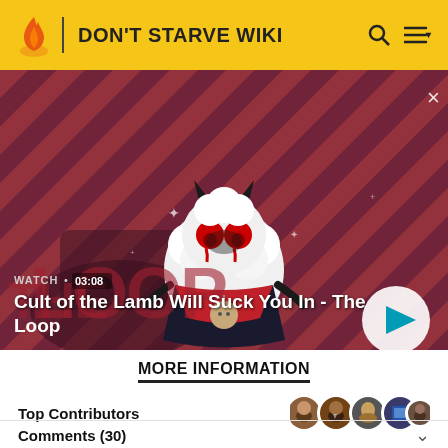DON'T STARVE WIKI
[Figure (screenshot): Video thumbnail showing a cartoon lamb character with red eyes and devil horns on a red and purple diagonal striped background. Shows 'WATCH • 03:08' and title 'Cult of the Lamb Will Suck You In - The Loop' with a play button.]
MORE INFORMATION
Top Contributors
Comments (30)